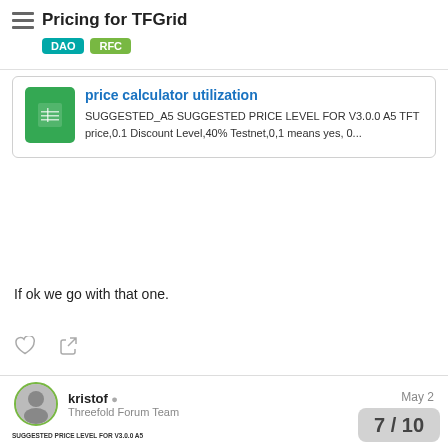Pricing for TFGrid  DAO  RFC
[Figure (screenshot): Green Google Sheets icon with grid lines]
price calculator utilization
SUGGESTED_A5 SUGGESTED PRICE LEVEL FOR V3.0.0 A5 TFT price,0.1 Discount Level,40% Testnet,0,1 means yes, 0...
If ok we go with that one.
kristof  Threefold Forum Team
May 2
[Figure (screenshot): Spreadsheet preview showing SUGGESTED PRICE LEVEL FOR V3.0.0 A5 with rows for TFT price, Discount Level, Testnet, Pricing, and items ms, nu, fu, tc, namo, sd with columns mGB, nTFT, USDmasculo and notes]
7 / 10